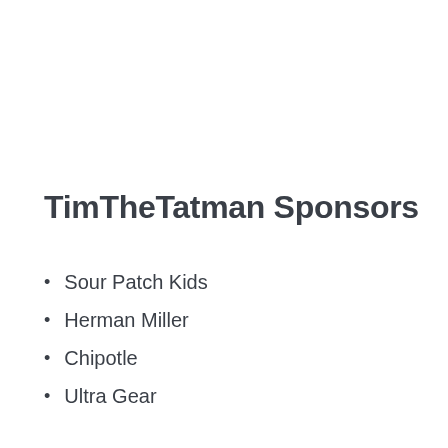TimTheTatman Sponsors
Sour Patch Kids
Herman Miller
Chipotle
Ultra Gear